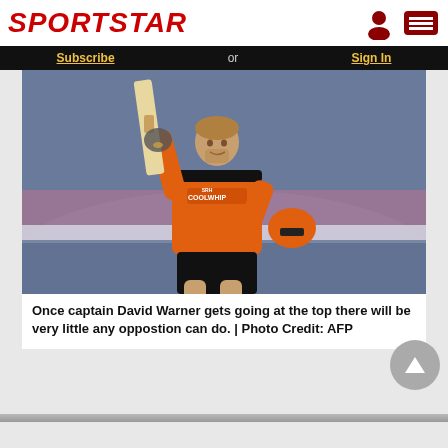SPORTSTAR
Subscribe or Sign In
[Figure (photo): Cricket player David Warner in Sunrisers Hyderabad orange jersey, raising a cricket bat with one hand, holding a helmet in the other hand, celebrating on the cricket field at night.]
Once captain David Warner gets going at the top there will be very little any oppostion can do. | Photo Credit: AFP